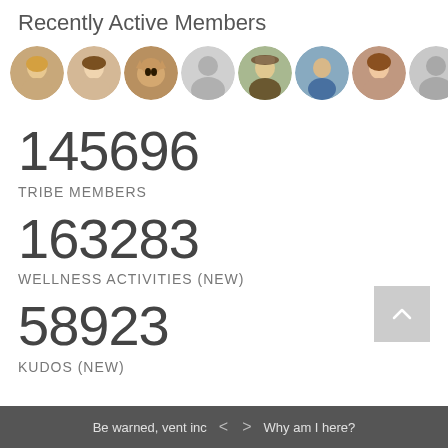Recently Active Members
[Figure (photo): Row of 10 circular avatar profile photos of recently active members]
145696
TRIBE MEMBERS
163283
WELLNESS ACTIVITIES (NEW)
58923
KUDOS (NEW)
Be warned, vent inc   <   >   Why am I here?